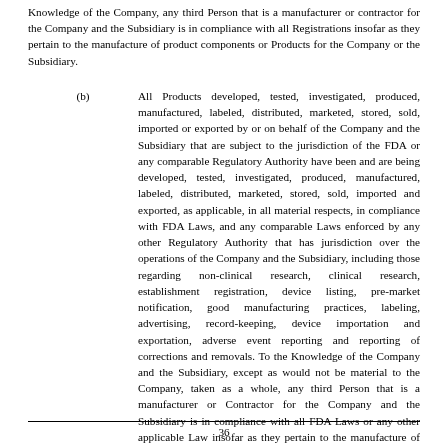Knowledge of the Company, any third Person that is a manufacturer or contractor for the Company and the Subsidiary is in compliance with all Registrations insofar as they pertain to the manufacture of product components or Products for the Company or the Subsidiary.
(b) All Products developed, tested, investigated, produced, manufactured, labeled, distributed, marketed, stored, sold, imported or exported by or on behalf of the Company and the Subsidiary that are subject to the jurisdiction of the FDA or any comparable Regulatory Authority have been and are being developed, tested, investigated, produced, manufactured, labeled, distributed, marketed, stored, sold, imported and exported, as applicable, in all material respects, in compliance with FDA Laws, and any comparable Laws enforced by any other Regulatory Authority that has jurisdiction over the operations of the Company and the Subsidiary, including those regarding non-clinical research, clinical research, establishment registration, device listing, pre-market notification, good manufacturing practices, labeling, advertising, record-keeping, device importation and exportation, adverse event reporting and reporting of corrections and removals. To the Knowledge of the Company and the Subsidiary, except as would not be material to the Company, taken as a whole, any third Person that is a manufacturer or Contractor for the Company and the Subsidiary is in compliance with all FDA Laws or any other applicable Law insofar as they pertain to the manufacture of product components or Products for the Company.
36